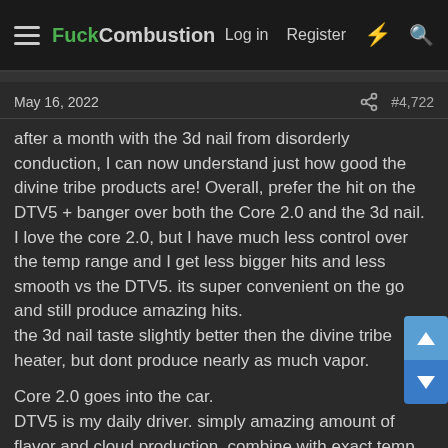FuckCombustion — Log in  Register
May 16, 2022   #4,722
after a month with the 3d nail from disorderly conduction, I can now understand just how good the divine tribe products are! Overall, prefer the hit on the DTV5 + banger over both the Core 2.0 and the 3d nail. I love the core 2.0, but I have much less control over the temp range and I get less bigger hits and less smooth vs the DTV5. its super convenient on the go and still produce amazing hits.
the 3d nail taste slightly better then the divine tribe heater, but dont produce nearly as much vapor.

Core 2.0 goes into the car.
DTV5 is my daily driver. simply amazing amount of flavor and cloud production, combine with exact temp range allow for 1 good terp draw, then clearing the dab in 2-3 good more draw. couldnt be faster and more efficient.
sadly, the 3d nail right now cost me twice as much product to get when i need vs the DTV5. I think i need to start playing with